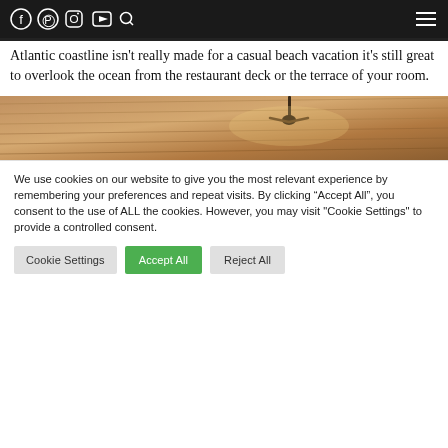Navigation bar with social icons (Facebook, Pinterest, Instagram, YouTube, Search) and hamburger menu
Atlantic coastline isn’t really made for a casual beach vacation it’s still great to overlook the ocean from the restaurant deck or the terrace of your room.
[Figure (photo): Partial photo showing warm-toned interior ceiling with a ceiling fan, cropped at the bottom of the visible area]
We use cookies on our website to give you the most relevant experience by remembering your preferences and repeat visits. By clicking “Accept All”, you consent to the use of ALL the cookies. However, you may visit “Cookie Settings” to provide a controlled consent.